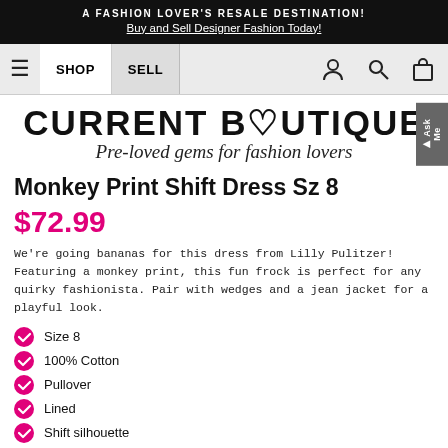A FASHION LOVER'S RESALE DESTINATION! Buy and Sell Designer Fashion Today!
[Figure (screenshot): Navigation bar with hamburger menu, SHOP, SELL tabs, user icon, search icon, and shopping bag icon]
[Figure (logo): Current Boutique logo with heart symbol and tagline: Pre-loved gems for fashion lovers]
Monkey Print Shift Dress Sz 8
$72.99
We're going bananas for this dress from Lilly Pulitzer! Featuring a monkey print, this fun frock is perfect for any quirky fashionista. Pair with wedges and a jean jacket for a playful look.
Size 8
100% Cotton
Pullover
Lined
Shift silhouette